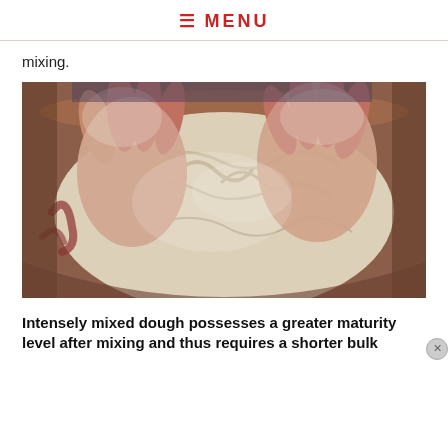≡ MENU
mixing.
[Figure (photo): Hands kneading flour dough in a terracotta/red bowl, close-up view showing flour-covered hands pressing into a large mound of white dough]
Intensely mixed dough possesses a greater maturity level after mixing and thus requires a shorter bulk